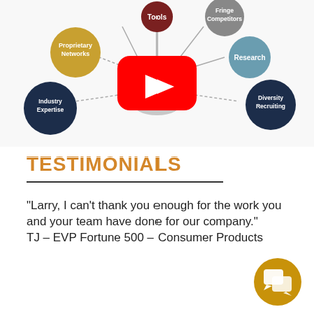[Figure (infographic): Infographic diagram showing a central figure of two business people surrounded by labeled circles: Tools (top center, dark red), Fringe Competitors (top right, gray), Research (right, teal/blue), Diversity Recruiting (far right, dark navy), Industry Expertise (left, dark navy), Proprietary Networks (upper left, gold/yellow). A YouTube play button overlay is centered on the image.]
TESTIMONIALS
"Larry, I can't thank you enough for the work you and your team have done for our company."
TJ – EVP Fortune 500 – Consumer Products